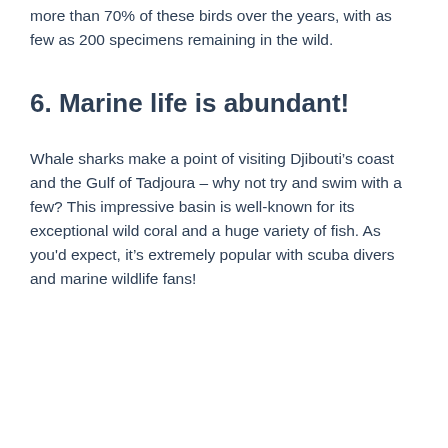more than 70% of these birds over the years, with as few as 200 specimens remaining in the wild.
6. Marine life is abundant!
Whale sharks make a point of visiting Djibouti’s coast and the Gulf of Tadjoura – why not try and swim with a few? This impressive basin is well-known for its exceptional wild coral and a huge variety of fish. As you'd expect, it’s extremely popular with scuba divers and marine wildlife fans!